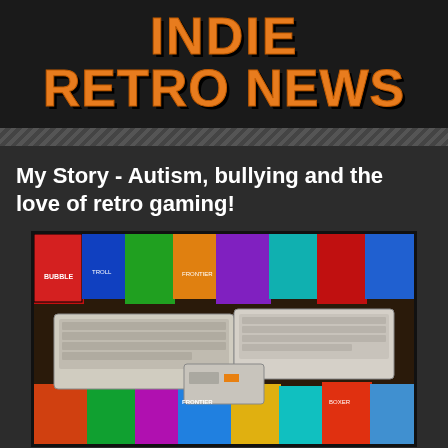[Figure (logo): Indie Retro News logo with orange bold text on black background]
My Story - Autism, bullying and the love of retro gaming!
[Figure (photo): Photograph of retro computers (Commodore Amiga/C64 keyboards) surrounded by colorful game boxes and cartridges spread on a surface]